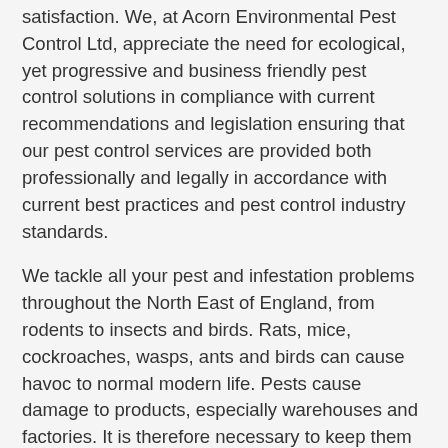satisfaction. We, at Acorn Environmental Pest Control Ltd, appreciate the need for ecological, yet progressive and business friendly pest control solutions in compliance with current recommendations and legislation ensuring that our pest control services are provided both professionally and legally in accordance with current best practices and pest control industry standards.
We tackle all your pest and infestation problems throughout the North East of England, from rodents to insects and birds. Rats, mice, cockroaches, wasps, ants and birds can cause havoc to normal modern life. Pests cause damage to products, especially warehouses and factories. It is therefore necessary to keep them in control. Acorn Environmental Pest Control Ltd offers Traps for the humane control of mice, rats, squirrels and other animals. In cases of extreme infestation organic